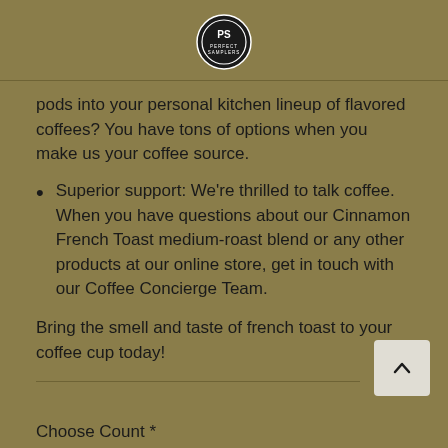[Figure (logo): Perfect Samplers circular logo with PS monogram and brand name]
pods into your personal kitchen lineup of flavored coffees? You have tons of options when you make us your coffee source.
Superior support: We're thrilled to talk coffee. When you have questions about our Cinnamon French Toast medium-roast blend or any other products at our online store, get in touch with our Coffee Concierge Team.
Bring the smell and taste of french toast to your coffee cup today!
Choose Count *